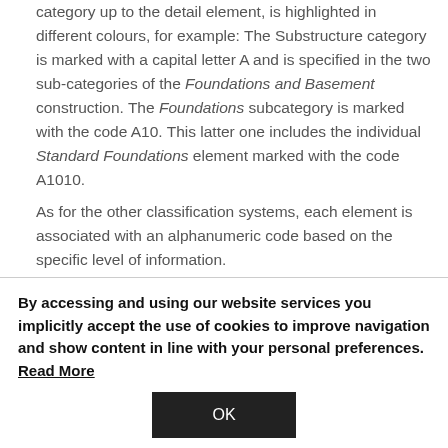category up to the detail element, is highlighted in different colours, for example: The Substructure category is marked with a capital letter A and is specified in the two sub-categories of the Foundations and Basement construction. The Foundations subcategory is marked with the code A10. This latter one includes the individual Standard Foundations element marked with the code A1010.
As for the other classification systems, each element is associated with an alphanumeric code based on the specific level of information.
This classification system should be given credit for having enhanced the analytical efficiency of the production process.
The image below shows how to classify any entity (for
By accessing and using our website services you implicitly accept the use of cookies to improve navigation and show content in line with your personal preferences. Read More